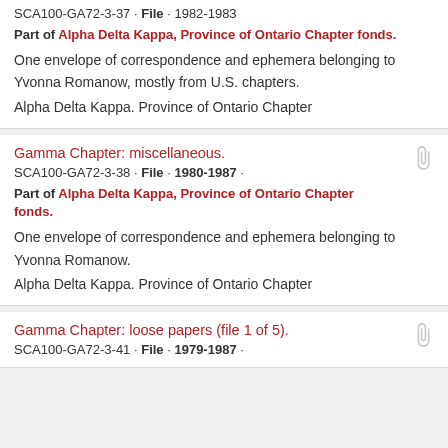SCA100-GA72-3-37 · File · 1982-1983
Part of Alpha Delta Kappa, Province of Ontario Chapter fonds.
One envelope of correspondence and ephemera belonging to Yvonna Romanow, mostly from U.S. chapters.
Alpha Delta Kappa. Province of Ontario Chapter
Gamma Chapter: miscellaneous.
SCA100-GA72-3-38 · File · 1980-1987 ·
Part of Alpha Delta Kappa, Province of Ontario Chapter fonds.
One envelope of correspondence and ephemera belonging to Yvonna Romanow.
Alpha Delta Kappa. Province of Ontario Chapter
Gamma Chapter: loose papers (file 1 of 5).
SCA100-GA72-3-41 · File · 1979-1987 ·